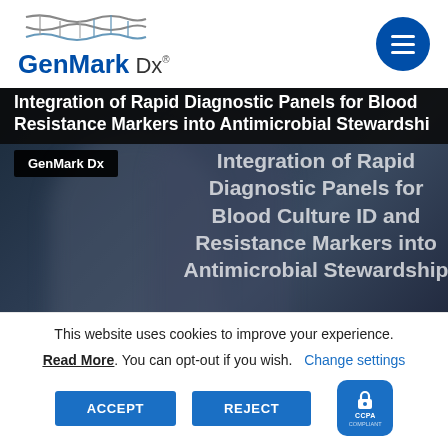[Figure (logo): GenMark Dx logo with DNA helix graphic and company name]
[Figure (screenshot): Dark hero banner image showing silhouetted figures with overlaid text about Integration of Rapid Diagnostic Panels for Blood Culture ID and Resistance Markers into Antimicrobial Stewardship, with GenMark Dx badge]
This website uses cookies to improve your experience.
Read More. You can opt-out if you wish. Change settings
ACCEPT
REJECT
[Figure (logo): CCPA Compliant lock badge button in dark blue]